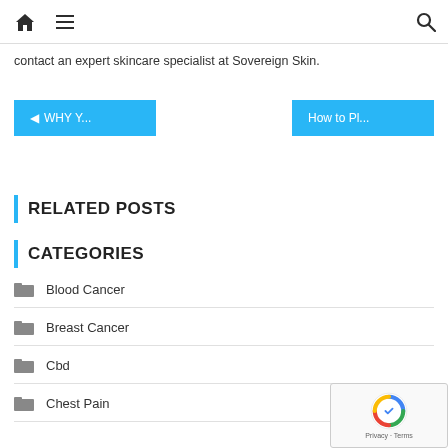Home | Menu | Search
contact an expert skincare specialist at Sovereign Skin.
◄ WHY Y...   How to Pl...
RELATED POSTS
CATEGORIES
Blood Cancer
Breast Cancer
Cbd
Chest Pain